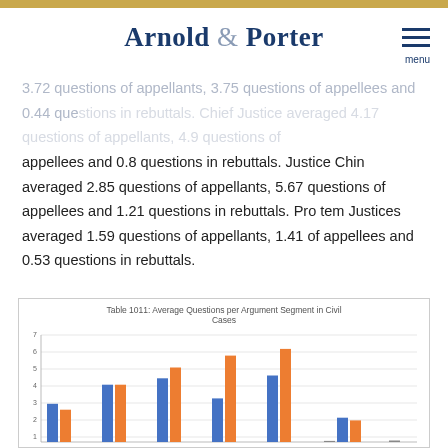Arnold & Porter
3.72 questions of appellants, 3.75 questions of appellees and 0.44 questions in rebuttals. Chief Justice averaged 4.17 questions of appellants, 4.9 questions of appellees and 0.8 questions in rebuttals. Justice Chin averaged 2.85 questions of appellants, 5.67 questions of appellees and 1.21 questions in rebuttals. Pro tem Justices averaged 1.59 questions of appellants, 1.41 of appellees and 0.53 questions in rebuttals.
[Figure (grouped-bar-chart): Table 1011: Average Questions per Argument Segment in Civil Cases]